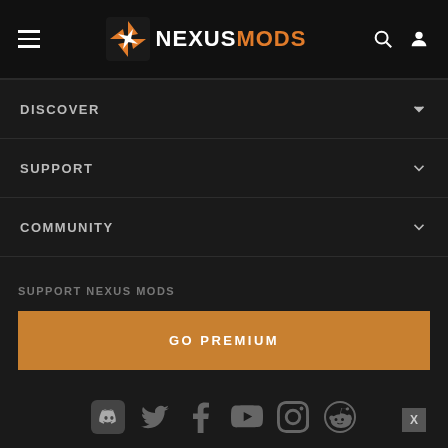NEXUSMODS - navigation header with hamburger menu, logo, search and user icons
DISCOVER
SUPPORT
COMMUNITY
SUPPORT NEXUS MODS
GO PREMIUM
[Figure (logo): Social media icons: Discord, Twitter, Facebook, YouTube, Instagram, Reddit, with X badge]
[Figure (logo): Nexus Mods footer logo with icon and NEXUSMODS text]